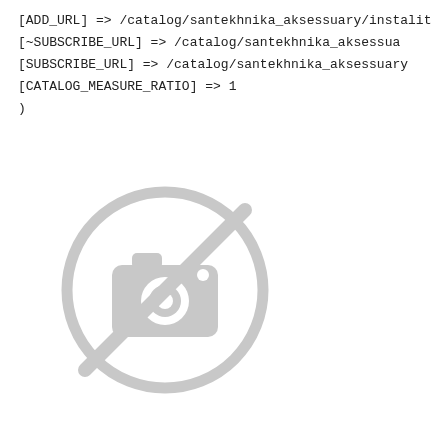[ADD_URL] => /catalog/santekhnika_aksessuary/instalit
[~SUBSCRIBE_URL] => /catalog/santekhnika_aksessua
[SUBSCRIBE_URL] => /catalog/santekhnika_aksessuary
[CATALOG_MEASURE_RATIO] => 1
)
[Figure (illustration): A grey 'no photo' placeholder icon: a circle with a diagonal line through it and a camera icon inside, all in light grey.]